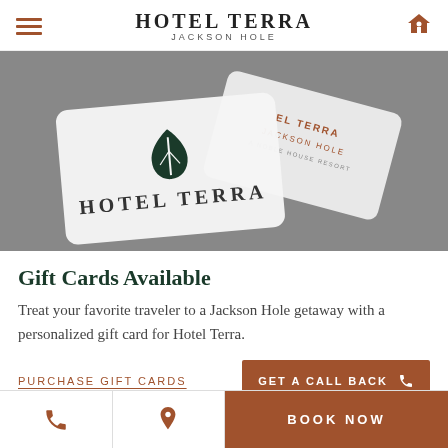Hotel Terra Jackson Hole
[Figure (photo): Photo of Hotel Terra Jackson Hole branded gift cards fanned out on a gray background. One card shows the leaf logo and 'Hotel Terra' text; another in the background shows 'Jackson Hole A Noble House Resort'.]
Gift Cards Available
Treat your favorite traveler to a Jackson Hole getaway with a personalized gift card for Hotel Terra.
PURCHASE GIFT CARDS
GET A CALL BACK
BOOK NOW